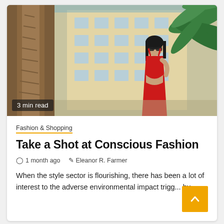[Figure (photo): Woman in a red dress standing near a palm tree with a European-style building in the background. Outdoor urban scene, sunny day.]
3 min read
Fashion & Shopping
Take a Shot at Conscious Fashion
1 month ago   Eleanor R. Farmer
When the style sector is flourishing, there has been a lot of interest to the adverse environmental impact trigg... by...